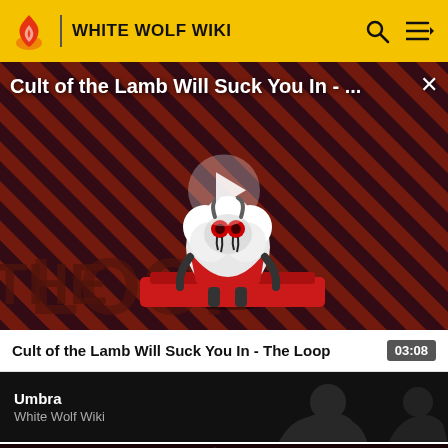WHITE WOLF WIKI
[Figure (screenshot): Video thumbnail: Cult of the Lamb Will Suck You In - The Loop. Shows a cartoon lamb character with red eyes on a red and dark diagonal-striped background with 'THE LOOP' text in large letters. A play button is centered over the image. An X close button is in the top right. Title text reads 'Cult of the Lamb Will Suck You In - ...' overlaid at top left.]
Cult of the Lamb Will Suck You In - The Loop
03:08
Umbra
White Wolf Wiki